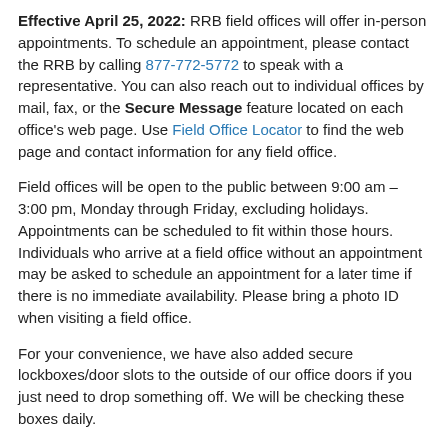Effective April 25, 2022: RRB field offices will offer in-person appointments. To schedule an appointment, please contact the RRB by calling 877-772-5772 to speak with a representative. You can also reach out to individual offices by mail, fax, or the Secure Message feature located on each office's web page. Use Field Office Locator to find the web page and contact information for any field office.
Field offices will be open to the public between 9:00 am – 3:00 pm, Monday through Friday, excluding holidays. Appointments can be scheduled to fit within those hours. Individuals who arrive at a field office without an appointment may be asked to schedule an appointment for a later time if there is no immediate availability. Please bring a photo ID when visiting a field office.
For your convenience, we have also added secure lockboxes/door slots to the outside of our office doors if you just need to drop something off. We will be checking these boxes daily.
Please follow the CDC's guidance on keeping yourself and others safe from COVID-19. Depending on the CDC's...